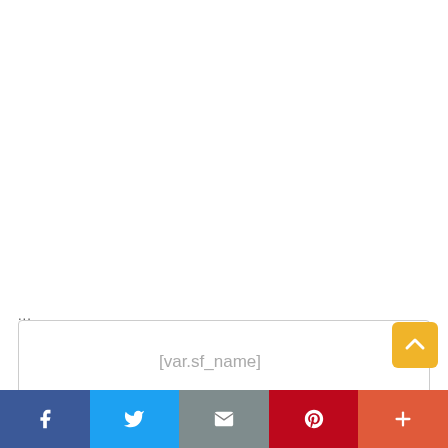...
[var.sf_name]
[Figure (screenshot): Social share bar with Facebook, Twitter, email, Pinterest, and more buttons at the bottom of the page, plus a yellow scroll-to-top button]